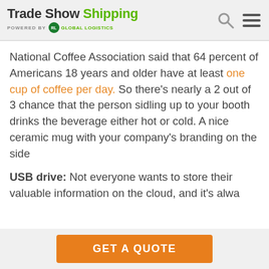Trade Show Shipping powered by RL Global Logistics
National Coffee Association said that 64 percent of Americans 18 years and older have at least one cup of coffee per day. So there's nearly a 2 out of 3 chance that the person sidling up to your booth drinks the beverage either hot or cold. A nice ceramic mug with your company's branding on the side
USB drive: Not everyone wants to store their valuable information on the cloud, and it's...
GET A QUOTE